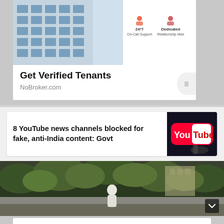[Figure (screenshot): NoBroker.com advertisement banner showing apartment building, icons for 24/7 On-Call Support and Dedicated Relationship Manager, with text 'Get Verified Tenants' and 'NoBroker.com']
Get Verified Tenants
NoBroker.com
[Figure (screenshot): News article card: '8 YouTube news channels blocked for fake, anti-India content: Govt' with YouTube logo thumbnail]
[Figure (photo): Outdoor photo showing trees and a person in white clothing]